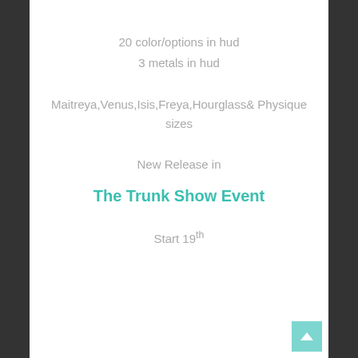20 color/options in hud
3 metals in hud
Maitreya,Venus,Isis,Freya,Hourglass& Physique sizes
New Release in
The Trunk Show Event
Start 19th